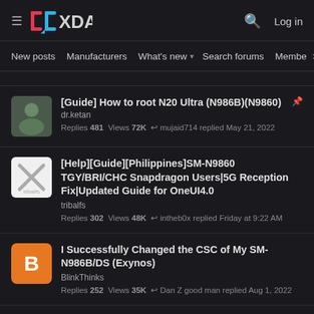XDA Forums navigation header with hamburger menu, XDA logo, search icon, and Log in
New posts  Manufacturers  What's new  Search forums  Members  >
[Guide] How to root N20 Ultra (N986B)(N9860) - dr.ketan - Replies 481  Views 72K  mujaid714 replied May 21, 2022
[Help][Guide][Philippines]SM-N9860 TGY/BRI/CHC Snapdragon Users|5G Reception Fix|Updated Guide for OneUI4.0 - tribalfs - Replies 302  Views 48K  intheb0x replied Friday at 9:22 AM
I Successfully Changed the CSC of My SM-N986B/DS (Exynos) - BlinkThinks - Replies 252  Views 35K  Dan Z good man replied Aug 1, 2022